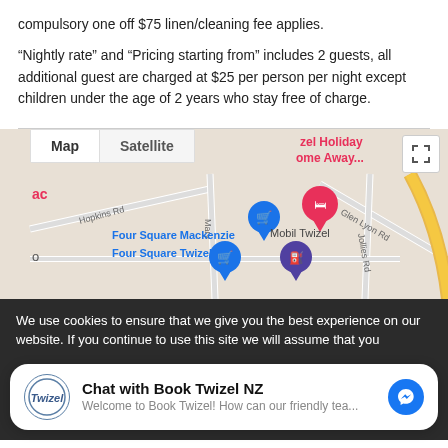compulsory one off $75 linen/cleaning fee applies.
“Nightly rate” and “Pricing starting from” includes 2 guests, all additional guest are charged at $25 per person per night except children under the age of 2 years who stay free of charge.
[Figure (map): Google Maps view showing Twizel area with Map/Satellite tabs, locations including Four Square Mackenzie, Four Square Twizel, Mobil Twizel, and Twizel Holiday Home Away pin. Roads include Hopkins Rd, Mary St, Jollies Rd, Glen Lyon Rd. A fullscreen button appears top right.]
We use cookies to ensure that we give you the best experience on our website. If you continue to use this site we will assume that you
Chat with Book Twizel NZ
Welcome to Book Twizel! How can our friendly tea...